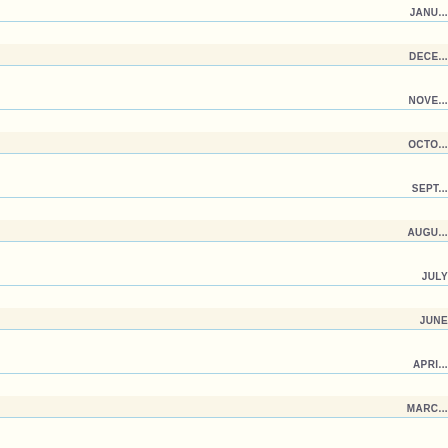JANUARY
DECEMBER
NOVEMBER
OCTOBER
SEPTEMBER
AUGUST
JULY
JUNE
APRIL
MARCH
FEBRUARY
JANUARY
DECEMBER
NOVEMBER
OCTOBER
SEPTEMBER
AUGUST
JULY
JUNE
MAY
APRIL